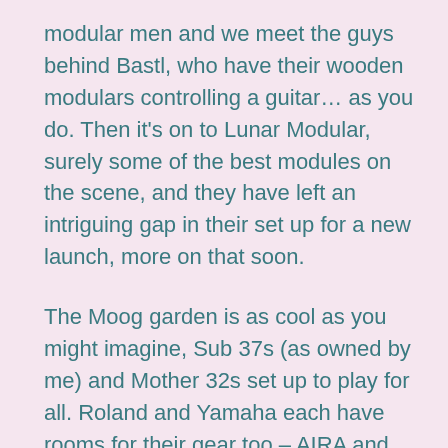modular men and we meet the guys behind Bastl, who have their wooden modulars controlling a guitar… as you do. Then it's on to Lunar Modular, surely some of the best modules on the scene, and they have left an intriguing gap in their set up for a new launch, more on that soon.
The Moog garden is as cool as you might imagine, Sub 37s (as owned by me) and Mother 32s set up to play for all. Roland and Yamaha each have rooms for their gear too – AIRA and reface taking precedent in each respectively – but upstairs we spot three companies very much veering away from total hardware to new levels of